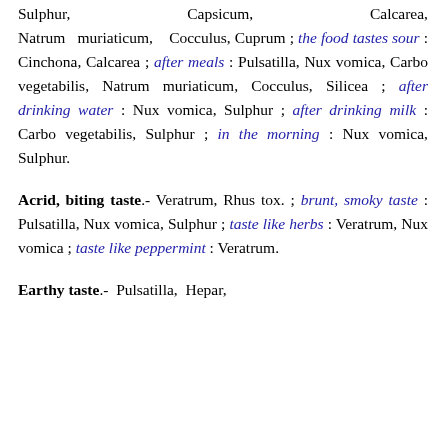Sulphur, Capsicum, Calcarea, Natrum muriaticum, Cocculus, Cuprum ; the food tastes sour : Cinchona, Calcarea ; after meals : Pulsatilla, Nux vomica, Carbo vegetabilis, Natrum muriaticum, Cocculus, Silicea ; after drinking water : Nux vomica, Sulphur ; after drinking milk : Carbo vegetabilis, Sulphur ; in the morning : Nux vomica, Sulphur.
Acrid, biting taste.- Veratrum, Rhus tox. ; brunt, smoky taste : Pulsatilla, Nux vomica, Sulphur ; taste like herbs : Veratrum, Nux vomica ; taste like peppermint : Veratrum.
Earthy taste.- Pulsatilla, Hepar,